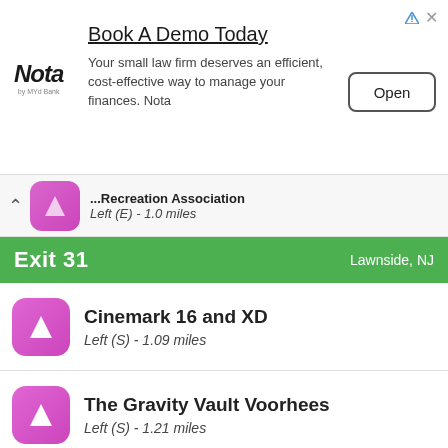[Figure (screenshot): Advertisement banner for Nota law firm software. Shows 'Book A Demo Today' heading, Nota logo, descriptive text, and an Open button.]
...Recreation Association — Left (E) - 1.0 miles
Exit 31   Lawnside, NJ
Cinemark 16 and XD — Left (S) - 1.09 miles
The Gravity Vault Voorhees — Left (S) - 1.21 miles
NL Aquatic Center — Left (S) - 1.22 miles